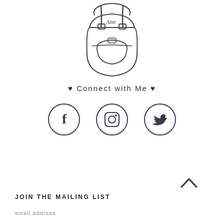[Figure (illustration): Line drawing sketch of a backpack with straps and a front pocket]
♥ Connect with Me ♥
[Figure (infographic): Three social media icon circles: Facebook (f), Instagram (camera), Twitter (bird)]
[Figure (other): Chevron up arrow (^) navigation button]
JOIN THE MAILING LIST
email address